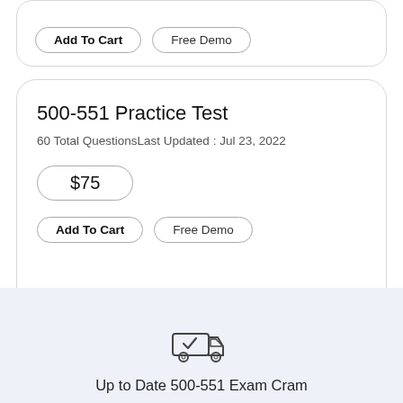[Figure (screenshot): Partial top card with Add To Cart and Free Demo buttons visible at top of page]
500-551 Practice Test
60 Total QuestionsLast Updated : Jul 23, 2022
$75
Add To Cart   Free Demo
[Figure (illustration): Delivery truck icon with checkmark]
Up to Date 500-551 Exam Cram